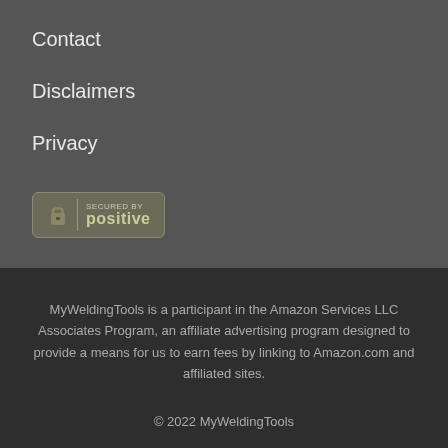Contact
Disclaimers
Privacy
[Figure (logo): SSL Secured By Positive SSL badge with padlock icon]
MyWeldingTools is a participant in the Amazon Services LLC Associates Program, an affiliate advertising program designed to provide a means for us to earn fees by linking to Amazon.com and affiliated sites.
© 2022 MyWeldingTools